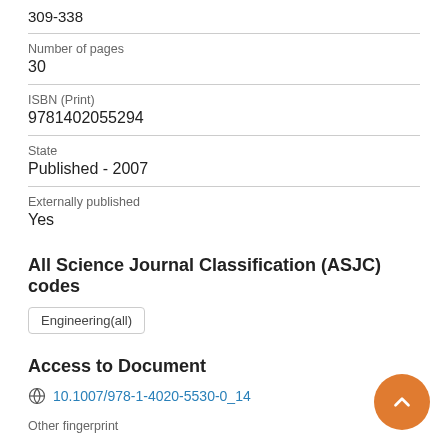309-338
Number of pages
30
ISBN (Print)
9781402055294
State
Published - 2007
Externally published
Yes
All Science Journal Classification (ASJC) codes
Engineering(all)
Access to Document
10.1007/978-1-4020-5530-0_14
Other fingerprint